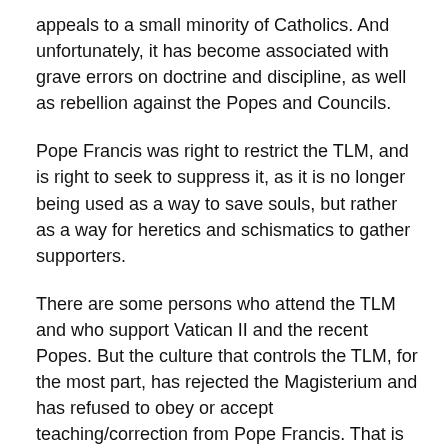appeals to a small minority of Catholics. And unfortunately, it has become associated with grave errors on doctrine and discipline, as well as rebellion against the Popes and Councils.
Pope Francis was right to restrict the TLM, and is right to seek to suppress it, as it is no longer being used as a way to save souls, but rather as a way for heretics and schismatics to gather supporters.
There are some persons who attend the TLM and who support Vatican II and the recent Popes. But the culture that controls the TLM, for the most part, has rejected the Magisterium and has refused to obey or accept teaching/correction from Pope Francis. That is not the path of salvation.